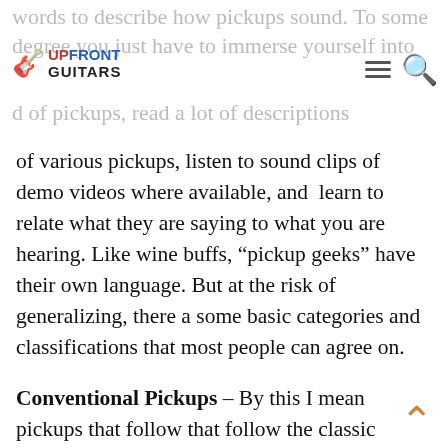words to describe how pickups sound. To some degree you just have to immerse yourself into the world of pickups, read a lot of descriptions
[Figure (logo): Upfront Guitars logo with guitar icon, hamburger menu icon, and search icon]
of various pickups, listen to sound clips of demo videos where available, and learn to relate what they are saying to what you are hearing. Like wine buffs, “pickup geeks” have their own language. But at the risk of generalizing, there a some basic categories and classifications that most people can agree on.
Conventional Pickups – By this I mean pickups that follow that follow the classic construction and material techniques set forth by industry pioneers at Fender, Gibson, Rickenbacker, etc. Within the world of conventional pickup designs there are arguably three typical configurations: